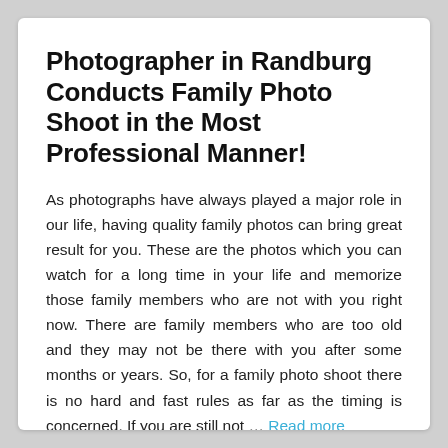Photographer in Randburg Conducts Family Photo Shoot in the Most Professional Manner!
As photographs have always played a major role in our life, having quality family photos can bring great result for you. These are the photos which you can watch for a long time in your life and memorize those family members who are not with you right now. There are family members who are too old and they may not be there with you after some months or years. So, for a family photo shoot there is no hard and fast rules as far as the timing is concerned. If you are still not … Read more
Tuesday, 2019, July 2 - 08:39